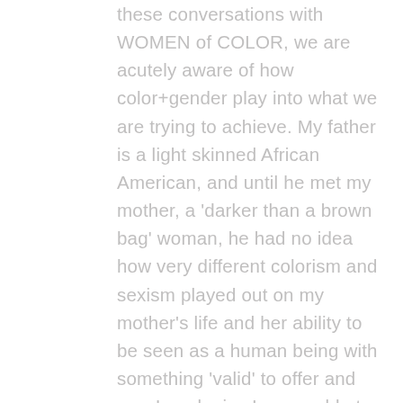these conversations with WOMEN of COLOR, we are acutely aware of how color+gender play into what we are trying to achieve. My father is a light skinned African American, and until he met my mother, a 'darker than a brown bag' woman, he had no idea how very different colorism and sexism played out on my mother's life and her ability to be seen as a human being with something 'valid' to offer and say. I apologize I am unable to fully articulate this to you, but there is something to be said about not just being a brown or black person, but a black or brown WOMAN identified person who is attempting to become a 'professional' diversity and inclusion specialist. I have been 'mindful' and not 'violent' when writing my blog over the past years and have referred many times to scholarship, books, scholars, etc., in the social science world who can validate my